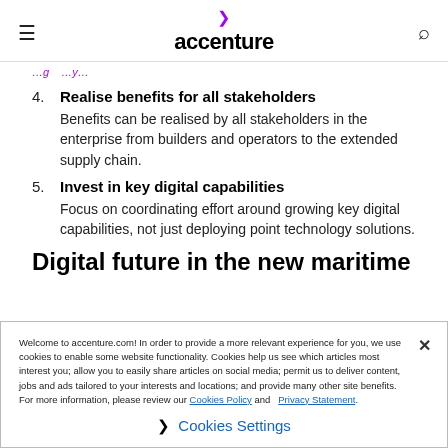accenture
(truncated top text in purple/italic — partial line visible)
4. Realise benefits for all stakeholders — Benefits can be realised by all stakeholders in the enterprise from builders and operators to the extended supply chain.
5. Invest in key digital capabilities — Focus on coordinating effort around growing key digital capabilities, not just deploying point technology solutions.
Digital future in the new maritime
Welcome to accenture.com! In order to provide a more relevant experience for you, we use cookies to enable some website functionality. Cookies help us see which articles most interest you; allow you to easily share articles on social media; permit us to deliver content, jobs and ads tailored to your interests and locations; and provide many other site benefits. For more information, please review our Cookies Policy and Privacy Statement.
Cookies Settings